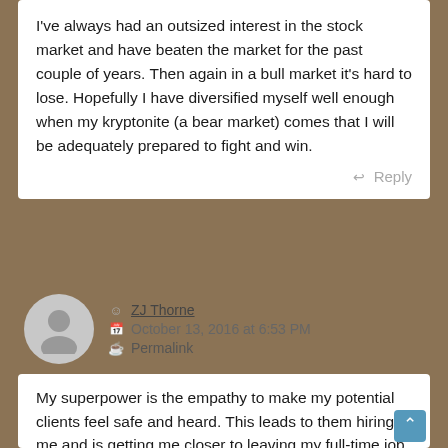I've always had an outsized interest in the stock market and have beaten the market for the past couple of years. Then again in a bull market it's hard to lose. Hopefully I have diversified myself well enough when my kryptonite (a bear market) comes that I will be adequately prepared to fight and win.
Reply
ZJ Thorne
October 13, 2016 at 6:53 PM
Permalink
My superpower is the empathy to make my potential clients feel safe and heard. This leads to them hiring me and is getting me closer to leaving my full-time job.